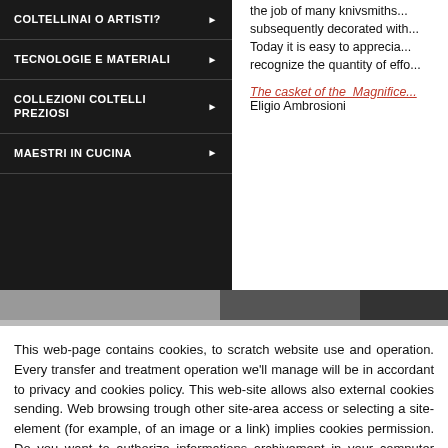COLTELLINAI O ARTISTI?
TECNOLOGIE E MATERIALI
COLLEZIONI COLTELLI PREZIOSI
MAESTRI IN CUCINA
the job of many knivsmiths... subsequently decorated with... Today it is easy to apprecia... recognize the quantity of effo...
The casket of the Magnifice... Eligio Ambrosioni
[Figure (photo): Partial view of an image strip at the bottom of the top section]
This web-page contains cookies, to scratch website use and operation. Every transfer and treatment operation we'll manage will be in accordant to privacy and cookies policy. This web-site allows also external cookies sending. Web browsing trough other site-area access or selecting a site-element (for example, of an image or a link) implies cookies permission. Do you want to authorize informations archivement in your computer under art. 122 D.lgs 196/2003 as revised by D.lgs 69/2012?